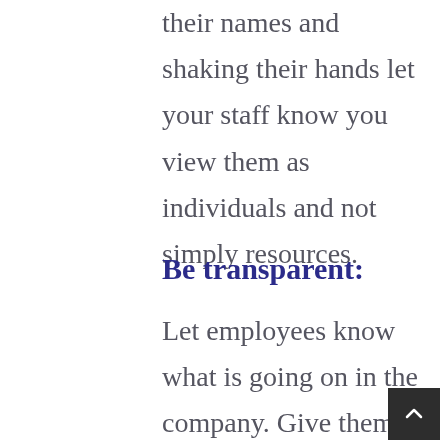their names and shaking their hands let your staff know you view them as individuals and not simply resources.
Be transparent:
Let employees know what is going on in the company. Give them the whole story and let them see the big picture. If you hold back,